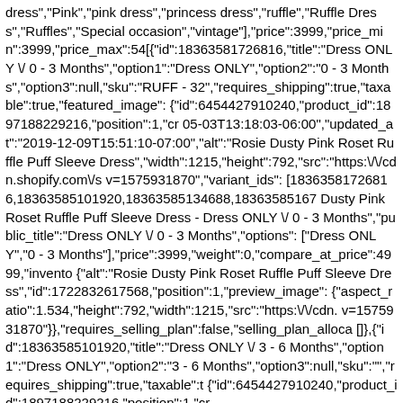dress","Pink","pink dress","princess dress","ruffle","Ruffle Dress","Ruffles","Special occasion","vintage"],"price":3999,"price_min":3999,"price_max":54[{"id":18363581726816,"title":"Dress ONLY \/ 0 - 3 Months","option1":"Dress ONLY","option2":"0 - 3 Months","option3":null,"sku":"RUFF - 32","requires_shipping":true,"taxable":true,"featured_image": {"id":6454427910240,"product_id":1897188229216,"position":1,"cr 05-03T13:18:03-06:00","updated_at":"2019-12-09T15:51:10-07:00","alt":"Rosie Dusty Pink Roset Ruffle Puff Sleeve Dress","width":1215,"height":792,"src":"https:\/\/cdn.shopify.com\/s v=1575931870","variant_ids": [18363581726816,18363585101920,18363585134688,18363585167 Dusty Pink Roset Ruffle Puff Sleeve Dress - Dress ONLY \/ 0 - 3 Months","public_title":"Dress ONLY \/ 0 - 3 Months","options": ["Dress ONLY","0 - 3 Months"],"price":3999,"weight":0,"compare_at_price":4999,"invento {"alt":"Rosie Dusty Pink Roset Ruffle Puff Sleeve Dress","id":1722832617568,"position":1,"preview_image": {"aspect_ratio":1.534,"height":792,"width":1215,"src":"https:\/\/cdn. v=1575931870"}},"requires_selling_plan":false,"selling_plan_alloca []},{"id":18363585101920,"title":"Dress ONLY \/ 3 - 6 Months","option1":"Dress ONLY","option2":"3 - 6 Months","option3":null,"sku":"","requires_shipping":true,"taxable":t {"id":6454427910240,"product_id":1897188229216,"position":1,"cr